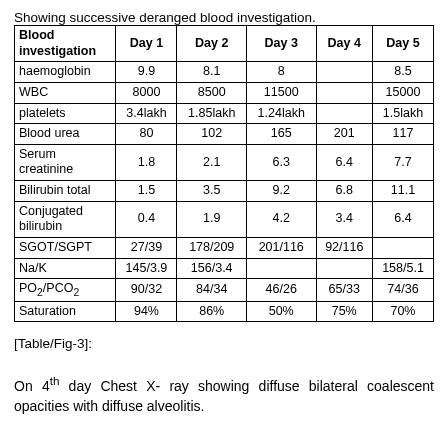Showing successive deranged blood investigation.
| Blood investigation | Day 1 | Day 2 | Day 3 | Day 4 | Day 5 |
| --- | --- | --- | --- | --- | --- |
| haemoglobin | 9.9 | 8.1 | 8 |  | 8.5 |
| WBC | 8000 | 8500 | 11500 |  | 15000 |
| platelets | 3.4lakh | 1.85lakh | 1.24lakh |  | 1.5lakh |
| Blood urea | 80 | 102 | 165 | 201 | 117 |
| Serum creatinine | 1.8 | 2.1 | 6.3 | 6.4 | 7.7 |
| Bilirubin total | 1.5 | 3.5 | 9.2 | 6.8 | 11.1 |
| Conjugated bilirubin | 0.4 | 1.9 | 4.2 | 3.4 | 6.4 |
| SGOT/SGPT | 27/39 | 178/209 | 201/116 | 92/116 |  |
| Na/K | 145/3.9 | 156/3.4 |  |  | 158/5.1 |
| PO₂/PCO₂ | 90/32 | 84/34 | 46/26 | 65/33 | 74/36 |
| Saturation | 94% | 86% | 50% | 75% | 70% |
[Table/Fig-3]:
On 4th day Chest X- ray showing diffuse bilateral coalescent opacities with diffuse alveolitis.